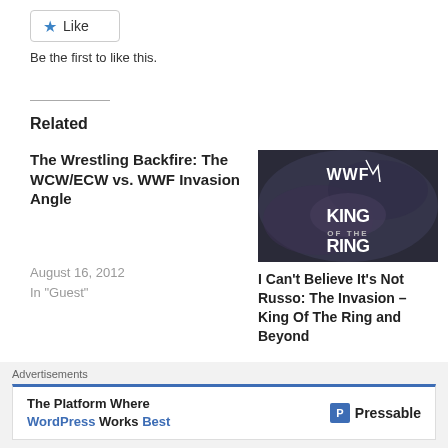[Figure (other): Like button with star icon]
Be the first to like this.
Related
The Wrestling Backfire: The WCW/ECW vs. WWF Invasion Angle
August 16, 2012
In "Guest"
[Figure (photo): WWF King of the Ring logo on dark background]
I Can't Believe It's Not Russo: The Invasion – King Of The Ring and Beyond
November 29, 2012
In "EDITORIALS"
Advertisements
[Figure (other): Pressable advertisement: The Platform Where WordPress Works Best]